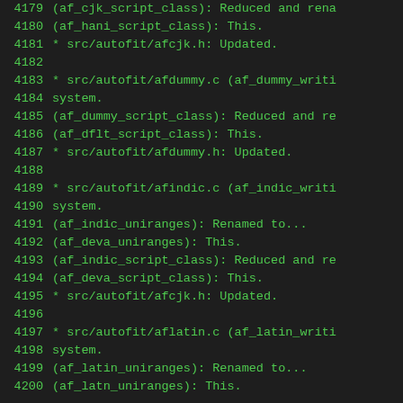4179    (af_cjk_script_class): Reduced and rena
4180    (af_hani_script_class): This.
4181    * src/autofit/afcjk.h: Updated.
4182
4183    * src/autofit/afdummy.c (af_dummy_writi
4184    system.
4185    (af_dummy_script_class): Reduced and re
4186    (af_dflt_script_class): This.
4187    * src/autofit/afdummy.h: Updated.
4188
4189    * src/autofit/afindic.c (af_indic_writi
4190    system.
4191    (af_indic_uniranges): Renamed to...
4192    (af_deva_uniranges): This.
4193    (af_indic_script_class): Reduced and re
4194    (af_deva_script_class): This.
4195    * src/autofit/afcjk.h: Updated.
4196
4197    * src/autofit/aflatin.c (af_latin_writi
4198    system.
4199    (af_latin_uniranges): Renamed to...
4200    (af_latn_uniranges): This.